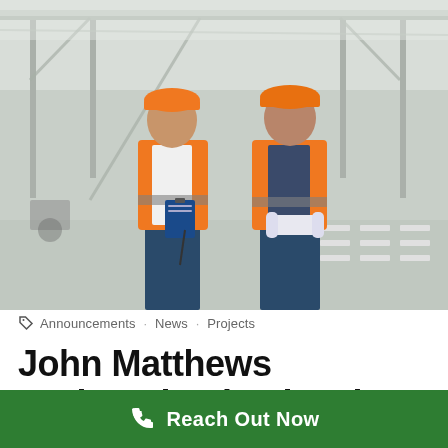[Figure (photo): Two construction workers in orange high-visibility vests and orange hard hats standing in a construction site. The worker on the left holds a clipboard and pen; the worker on the right holds rolled blueprints. Industrial columns and ceiling structure visible in background.]
Announcements · News · Projects
John Matthews assigned to lead main
Reach Out Now